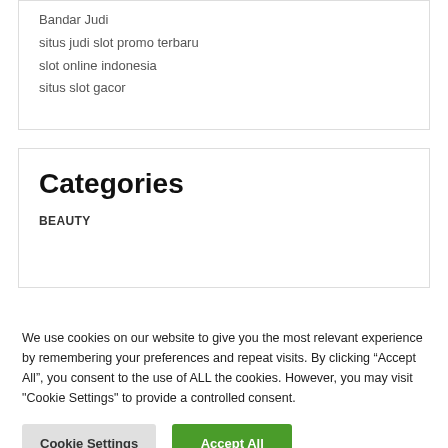Bandar Judi
situs judi slot promo terbaru
slot online indonesia
situs slot gacor
Categories
BEAUTY
We use cookies on our website to give you the most relevant experience by remembering your preferences and repeat visits. By clicking “Accept All”, you consent to the use of ALL the cookies. However, you may visit "Cookie Settings" to provide a controlled consent.
Cookie Settings  Accept All